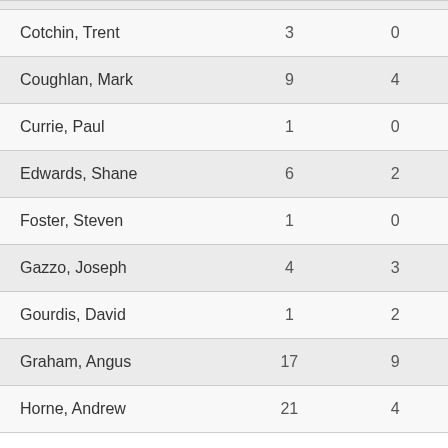| Cotchin, Trent | 3 | 0 |
| Coughlan, Mark | 9 | 4 |
| Currie, Paul | 1 | 0 |
| Edwards, Shane | 6 | 2 |
| Foster, Steven | 1 | 0 |
| Gazzo, Joseph | 4 | 3 |
| Gourdis, David | 1 | 2 |
| Graham, Angus | 17 | 9 |
| Horne, Andrew | 21 | 4 |